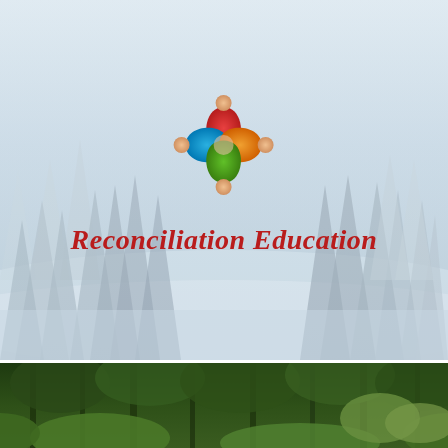[Figure (logo): Reconciliation Education logo: four colored figures/petals (red top, blue left, orange right, green bottom) arranged in a cross/flower pattern, each with a stylized person shape with a circular head, overlapping in the center. Below the logo is the text 'Reconciliation Education' in dark red italic serif font. The background is a misty/foggy forest of tall evergreen trees in muted blue-grey tones.]
[Figure (photo): A close-up photograph of a dense forest with tall trees, green foliage, and leafy plants in the foreground. The image shows a lush, green woodland scene.]